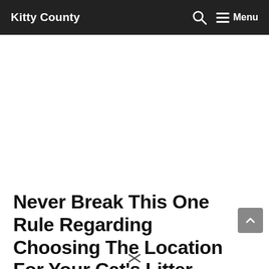Kitty County
Never Break This One Rule Regarding Choosing The Location For Your Cat's Litter...